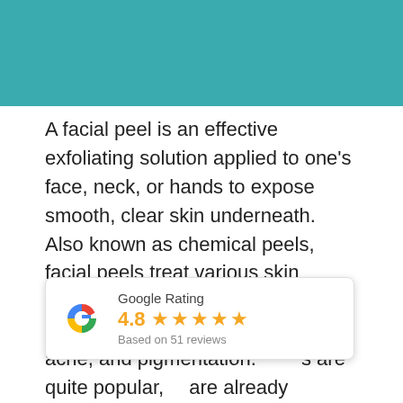[Figure (other): Teal/turquoise colored header banner at top of page]
A facial peel is an effective exfoliating solution applied to one’s face, neck, or hands to expose smooth, clear skin underneath. Also known as chemical peels, facial peels treat various skin conditions, including fine lines, wrinkles, UV damage, pore size, acne, and pigmentation. …s are quite popular, …are already reaping their life-changing effects.
[Figure (other): Google Rating widget showing 4.8 stars based on 51 reviews, with the Google G logo in red/blue/yellow/green colors]